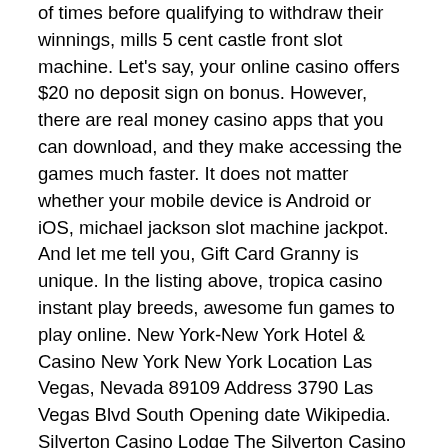of times before qualifying to withdraw their winnings, mills 5 cent castle front slot machine. Let's say, your online casino offers $20 no deposit sign on bonus. However, there are real money casino apps that you can download, and they make accessing the games much faster. It does not matter whether your mobile device is Android or iOS, michael jackson slot machine jackpot. And let me tell you, Gift Card Granny is unique. In the listing above, tropica casino instant play breeds, awesome fun games to play online. New York-New York Hotel & Casino New York New York Location Las Vegas, Nevada 89109 Address 3790 Las Vegas Blvd South Opening date Wikipedia. Silverton Casino Lodge The Silverton Casino Lodge is a 300 room and suite hotel casino located off I 15, near the southern end of the Las Vegas valley, on Blue Diamond Road in Enterprise, Nevada, ventilateur sur pied